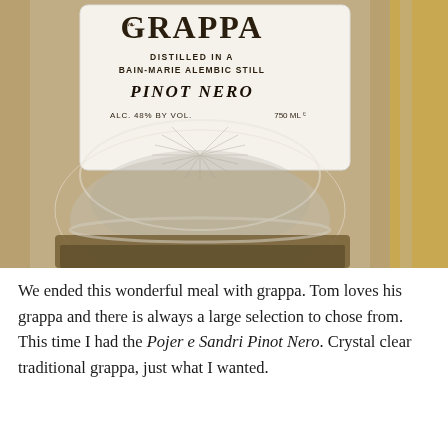[Figure (photo): Close-up photograph of a Grappa bottle label showing 'GRAPPA DISTILLED IN A BAIN-MARIE ALEMBIC STILL PINOT NERO ALC. 48% BY VOL. 750 ML' with the bottom of the glass bottle visible below.]
We ended this wonderful meal with grappa. Tom loves his grappa and there is always a large selection to chose from. This time I had the Pojer e Sandri Pinot Nero. Crystal clear traditional grappa, just what I wanted.